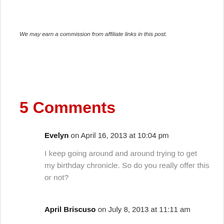We may earn a commission from affiliate links in this post.
5 Comments
Evelyn on April 16, 2013 at 10:04 pm
I keep going around and around trying to get my birthday chronicle. So do you really offer this or not?
April Briscuso on July 8, 2013 at 11:11 am